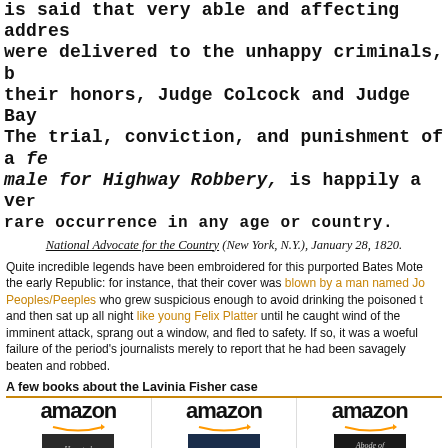is said that very able and affecting addresses were delivered to the unhappy criminals, their honors, Judge Colcock and Judge Bay. The trial, conviction, and punishment of a female for Highway Robbery, is happily a very rare occurrence in any age or country.
National Advocate for the Country (New York, N.Y.), January 28, 1820.
Quite incredible legends have been embroidered for this purported Bates Mote the early Republic: for instance, that their cover was blown by a man named Jo Peoples/Peeples who grew suspicious enough to avoid drinking the poisoned t and then sat up all night like young Felix Platter until he caught wind of the imminent attack, sprang out a window, and fled to safety. If so, it was a woeful failure of the period's journalists merely to report that he had been savagely beaten and robbed.
A few books about the Lavinia Fisher case
[Figure (other): Three Amazon book listings with covers: 'Six Miles to', 'The Six Mile Inn', 'Abode of Misery:']